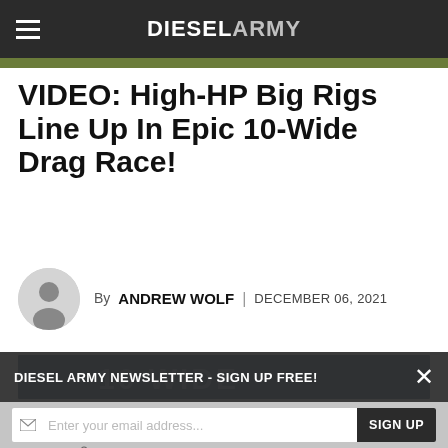DIESEL ARMY
VIDEO: High-HP Big Rigs Line Up In Epic 10-Wide Drag Race!
By ANDREW WOLF | DECEMBER 06, 2021
[Figure (photo): Partial view of a photo showing '10 WIDE' text on a dark blue background]
DIESEL ARMY NEWSLETTER - SIGN UP FREE!
Enter your email address... SIGN UP
We will safeguard your e-mail and only send content you request.